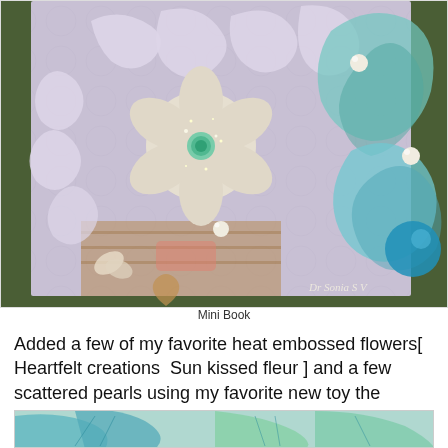[Figure (photo): Close-up photo of a handmade mini book with heat embossed flowers, decorative swirl patterns, pearls, and teal/turquoise embellishments. A watermark reads 'Dr Sonia S V' in the bottom right corner.]
Mini Book
Added a few of my favorite heat embossed flowers[ Heartfelt creations  Sun kissed fleur ] and a few scattered pearls using my favorite new toy the Crystal Katana !
[Figure (photo): Partial view of a craft piece showing teal and green embossed floral/leaf elements, partially cropped at the bottom of the page.]